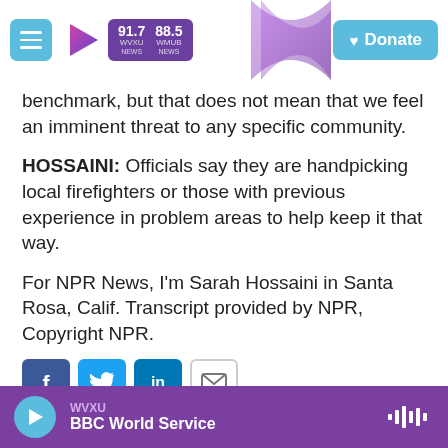WVXU 91.7 NEWS | WMUB 88.5 NEWS | Donate
benchmark, but that does not mean that we feel an imminent threat to any specific community.
HOSSAINI: Officials say they are handpicking local firefighters or those with previous experience in problem areas to help keep it that way.
For NPR News, I'm Sarah Hossaini in Santa Rosa, Calif. Transcript provided by NPR, Copyright NPR.
[Figure (other): Social sharing buttons: Facebook (blue), Twitter (light blue), LinkedIn (blue), Email (white with border)]
[Figure (photo): Photo of Sara Hossaini, a woman with dark hair]
Sara Hossaini
WVXU | BBC World Service